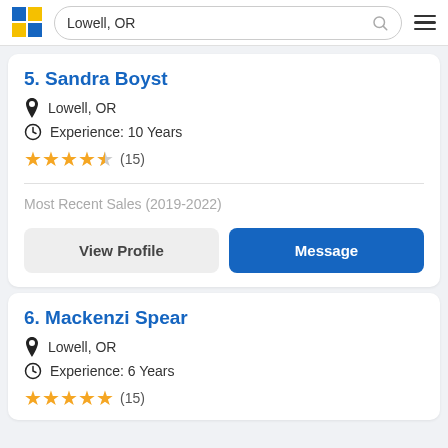Lowell, OR
5. Sandra Boyst
Lowell, OR
Experience: 10 Years
★★★★☆ (15)
Most Recent Sales (2019-2022)
View Profile
Message
6. Mackenzi Spear
Lowell, OR
Experience: 6 Years
★★★★★ (15)